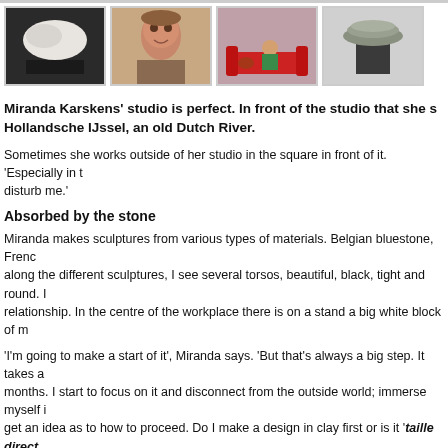[Figure (photo): Four artwork photos in a row: a white marble sculpture on dark base, a portrait painting of a young person, a painting of a figure on a red sofa, and a ceramic bowl on a dark pedestal]
Miranda Karskens' studio is perfect. In front of the studio that she s Hollandsche IJssel, an old Dutch River.
Sometimes she works outside of her studio in the square in front of it. 'Especially in t disturb me.'
Absorbed by the stone
Miranda makes sculptures from various types of materials. Belgian bluestone, Frenc along the different sculptures, I see several torsos, beautiful, black, tight and round. I relationship. In the centre of the workplace there is on a stand a big white block of m
'I'm going to make a start of it', Miranda says. 'But that's always a big step. It takes a months. I start to focus on it and disconnect from the outside world; immerse myself i get an idea as to how to proceed. Do I make a design in clay first or is it 'taille direct
'The image is already in the stone, but I have to pull it out. Certain stones have of the emerging. It is important to stop in time, to take some distance. So that the work gets week, but it may also take month or even half a year before moving on again.'